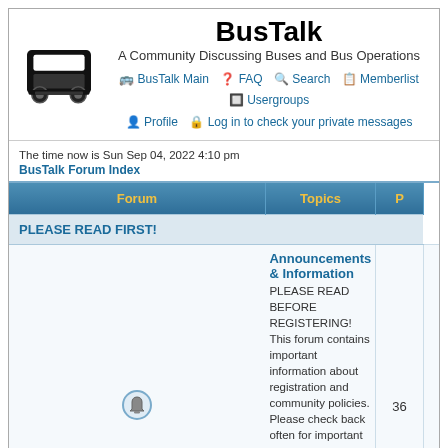BusTalk
A Community Discussing Buses and Bus Operations
BusTalk Main | FAQ | Search | Memberlist | Usergroups | Profile | Log in to check your private messages
The time now is Sun Sep 04, 2022 4:10 pm
BusTalk Forum Index
| Forum | Topics | P |
| --- | --- | --- |
| PLEASE READ FIRST! |  |  |
| Announcements & Information
PLEASE READ BEFORE REGISTERING! This forum contains important information about registration and community policies. Please check back often for important website announcements, instructions, requests and other related information.
Moderators MarkW, GBL Rebel, RailBus63 | 36 |  |
| Member Introductions and Announcements
If you're new to the website and wish to post an introductory greeting, please feel free to tell us all about yourself here! Or, if there's something you'd like to share about yourself, please do so!
Moderators MarkW, GBL Rebel, RailBus63 | 237 | 1 |
| Member Feedback & Help
Please share your comments, suggestions, opinions, complaints and anything else you'd care to share about this website.
Moderators MarkW, GBL Rebel, RailBus63 | 38 |  |